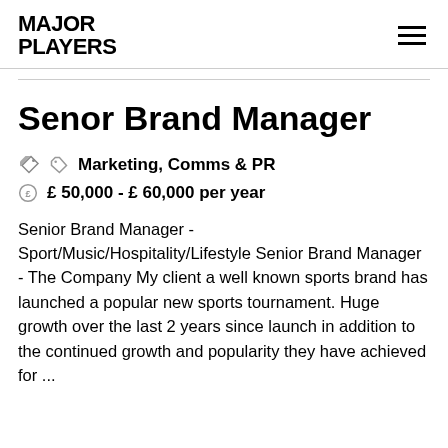MAJOR PLAYERS
Senor Brand Manager
Marketing, Comms & PR
£ 50,000 - £ 60,000 per year
Senior Brand Manager - Sport/Music/Hospitality/Lifestyle Senior Brand Manager - The Company My client a well known sports brand has launched a popular new sports tournament. Huge growth over the last 2 years since launch in addition to the continued growth and popularity they have achieved for ...